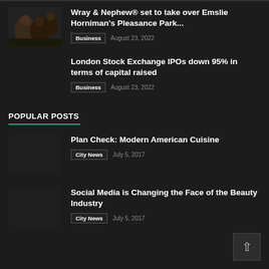[Figure (photo): Thumbnail image for Wray & Nephew article, dark illustrated figures]
Wray & Nephew® set to take over Emslie Horniman's Pleasance Park...
Business   August 23, 2022
London Stock Exchange IPOs down 95% in terms of capital raised
Business   August 23, 2022
POPULAR POSTS
Plan Check: Modern American Cuisine
City News   July 5, 2017
Social Media is Changing the Face of the Beauty Industry
City News   July 5, 2017